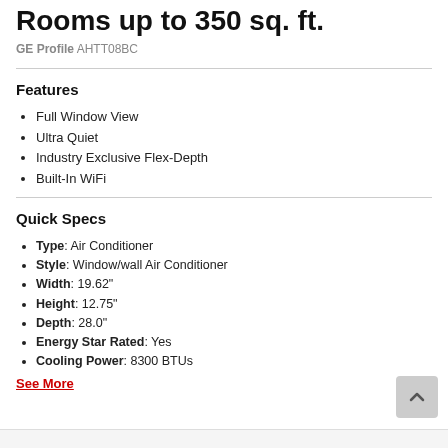Rooms up to 350 sq. ft.
GE Profile AHTT08BC
Features
Full Window View
Ultra Quiet
Industry Exclusive Flex-Depth
Built-In WiFi
Quick Specs
Type: Air Conditioner
Style: Window/wall Air Conditioner
Width: 19.62"
Height: 12.75"
Depth: 28.0"
Energy Star Rated: Yes
Cooling Power: 8300 BTUs
See More